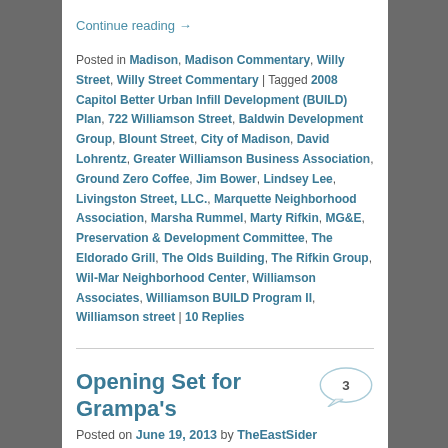Continue reading →
Posted in Madison, Madison Commentary, Willy Street, Willy Street Commentary | Tagged 2008 Capitol Better Urban Infill Development (BUILD) Plan, 722 Williamson Street, Baldwin Development Group, Blount Street, City of Madison, David Lohrentz, Greater Williamson Business Association, Ground Zero Coffee, Jim Bower, Lindsey Lee, Livingston Street, LLC., Marquette Neighborhood Association, Marsha Rummel, Marty Rifkin, MG&E, Preservation & Development Committee, The Eldorado Grill, The Olds Building, The Rifkin Group, Wil-Mar Neighborhood Center, Williamson Associates, Williamson BUILD Program II, Williamson street | 10 Replies
Opening Set for Grampa's
Posted on June 19, 2013 by TheEastSider
Paint and then patrons only left for new late-night pizza establishment